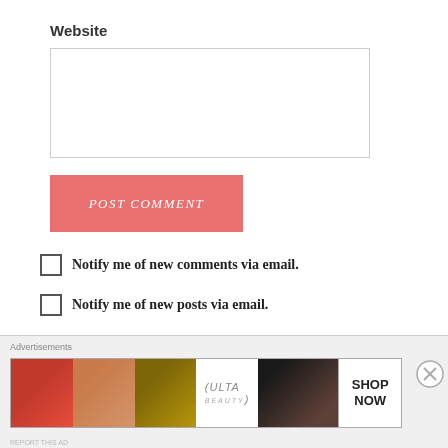Website
POST COMMENT
Notify me of new comments via email.
Notify me of new posts via email.
Advertisements
[Figure (other): Ulta beauty advertisement banner with cosmetic images showing lips, brush, eye, Ulta logo, and face with SHOP NOW text]